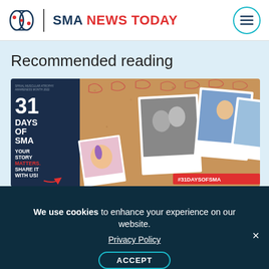SMA NEWS TODAY
Recommended reading
[Figure (photo): 31 Days of SMA awareness month campaign image. Left panel: dark background with text '31 DAYS OF SMA YOUR STORY MATTERS. SHARE IT WITH US!' with a red arrow and a hand holding a purple ribbon bracelet. Center-right: cork board background with polaroid-style photos of people, and a red banner '#31DAYSOFSMA'.]
We use cookies to enhance your experience on our website.
Privacy Policy
ACCEPT